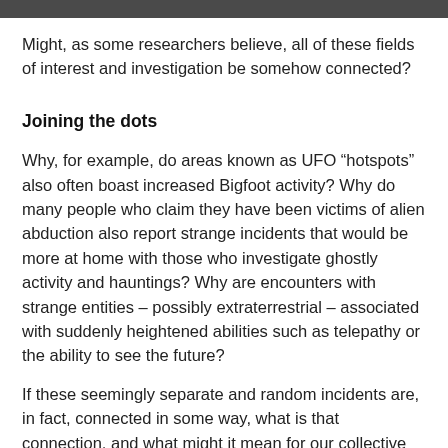[Figure (photo): Partial photo strip at the top of the page, showing a dark/muted image, partially cropped.]
Might, as some researchers believe, all of these fields of interest and investigation be somehow connected?
Joining the dots
Why, for example, do areas known as UFO “hotspots” also often boast increased Bigfoot activity? Why do many people who claim they have been victims of alien abduction also report strange incidents that would be more at home with those who investigate ghostly activity and hauntings? Why are encounters with strange entities – possibly extraterrestrial – associated with suddenly heightened abilities such as telepathy or the ability to see the future?
If these seemingly separate and random incidents are, in fact, connected in some way, what is that connection, and what might it mean for our collective sense of reality? How might the secrecy of UFOs affect the future of mankind, for example? How might our understanding of apparent activity